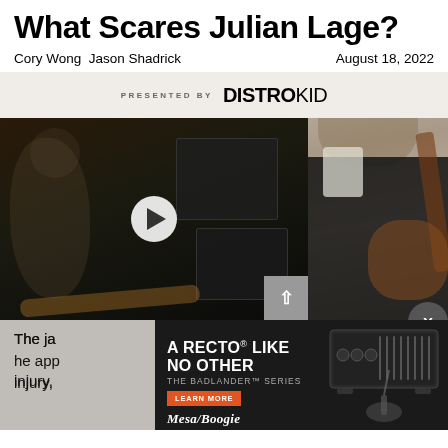What Scares Julian Lage?
Cory Wong  Jason Shadrick                              August 18, 2022
[Figure (photo): Article page screenshot showing a video thumbnail of a guitarist playing electric guitar in a studio with amplifiers, overlaid with a DISTROKID 'PRESENTED BY' header and a play button. To the right is a photo of a man (Julian Lage) in a dark jacket playing acoustic guitar. Bottom shows an advertisement for Mesa/Boogie Badlander amp series.]
The ja[zz guitarist discusses] ... [show] he app[roaches performance after a] ng injury, [...]